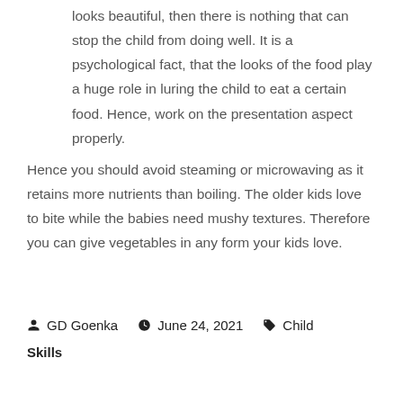looks beautiful, then there is nothing that can stop the child from doing well. It is a psychological fact, that the looks of the food play a huge role in luring the child to eat a certain food. Hence, work on the presentation aspect properly.
Hence you should avoid steaming or microwaving as it retains more nutrients than boiling. The older kids love to bite while the babies need mushy textures. Therefore you can give vegetables in any form your kids love.
GD Goenka   June 24, 2021   Child Skills